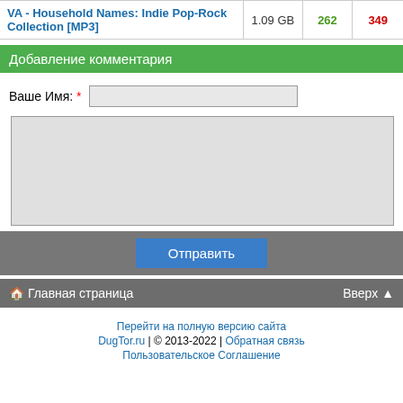| Name | Size | Seeds | Peers |
| --- | --- | --- | --- |
| VA - Household Names: Indie Pop-Rock Collection [MP3] | 1.09 GB | 262 | 349 |
Добавление комментария
Ваше Имя: *
[text input field]
[textarea]
Отправить
🏠 Главная страница   Вверх 🏠
Перейти на полную версию сайта
DugTor.ru | © 2013-2022 | Обратная связь
Пользовательское Соглашение